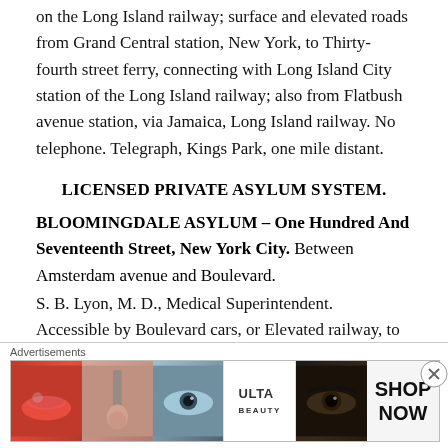Forty-five miles from New York City, accessible by trains on the Long Island railway; surface and elevated roads from Grand Central station, New York, to Thirty-fourth street ferry, connecting with Long Island City station of the Long Island railway; also from Flatbush avenue station, via Jamaica, Long Island railway. No telephone. Telegraph, Kings Park, one mile distant.
LICENSED PRIVATE ASYLUM SYSTEM.
BLOOMINGDALE ASYLUM – One Hundred And Seventeenth Street, New York City. Between Amsterdam avenue and Boulevard.
S. B. Lyon, M. D., Medical Superintendent.
Accessible by Boulevard cars, or Elevated railway, to One